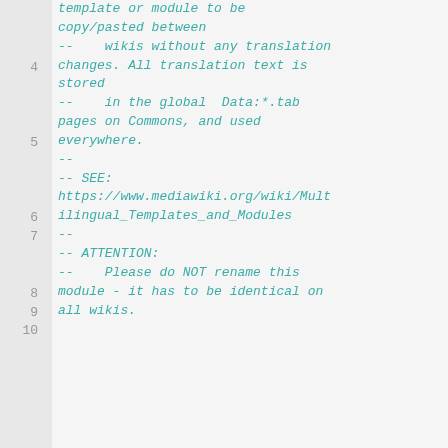[Figure (screenshot): Code editor view showing lines 4-10 of a Lua/wiki module comment. Lines are numbered on the left gutter (gray background). Code text is in teal/cyan monospace italic font on light gray background. Content shows comments about multilingual wiki templates, Data:*.tab pages on Commons, a SEE link to mediawiki.org, and an ATTENTION note about not renaming the module.]